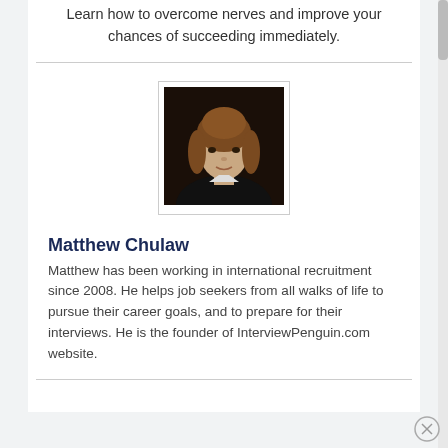Learn how to overcome nerves and improve your chances of succeeding immediately.
[Figure (photo): Headshot photo of Matthew Chulaw, a man with long wavy brown hair wearing a dark jacket, against a dark background.]
Matthew Chulaw
Matthew has been working in international recruitment since 2008. He helps job seekers from all walks of life to pursue their career goals, and to prepare for their interviews. He is the founder of InterviewPenguin.com website.